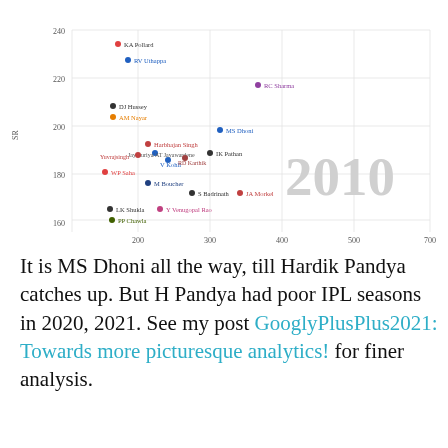[Figure (continuous-plot): Scatter plot of cricket players for year 2010. X-axis labeled 'runs', Y-axis labeled 'SR' (strike rate). Players labeled include KA Pollard, RV Uthappa, RC Sharma, DJ Hussey, AM Nayar, MS Dhoni, Harbhajan Singh, IK Pathan, WP Saha, JA Morkel, S Badrinath, LK Shukla, Y Venugopal Rao, PP Chawla, V Kohli, M Boucher, among others. Year '2010' shown in large light grey text in center-right of chart.]
It is MS Dhoni all the way, till Hardik Pandya catches up. But H Pandya had poor IPL seasons in 2020, 2021. See my post GooglyPlusPlus2021: Towards more picturesque analytics! for finer analysis.